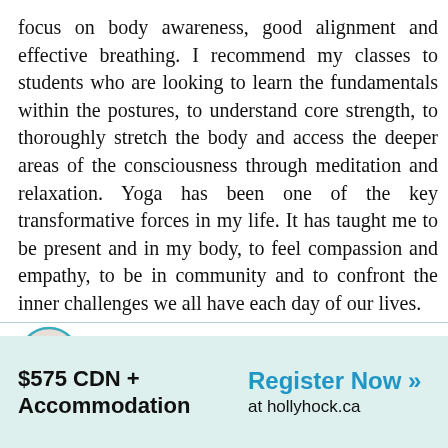focus on body awareness, good alignment and effective breathing. I recommend my classes to students who are looking to learn the fundamentals within the postures, to understand core strength, to thoroughly stretch the body and access the deeper areas of the consciousness through meditation and relaxation. Yoga has been one of the key transformative forces in my life. It has taught me to be present and in my body, to feel compassion and empathy, to be in community and to confront the inner challenges we all have each day of our lives.
[Figure (photo): Circular portrait photo of Fiii McAlpine with a teal/blue circular border]
Fiii McAlpine
$575 CDN + Accommodation
Register Now >> at hollyhock.ca